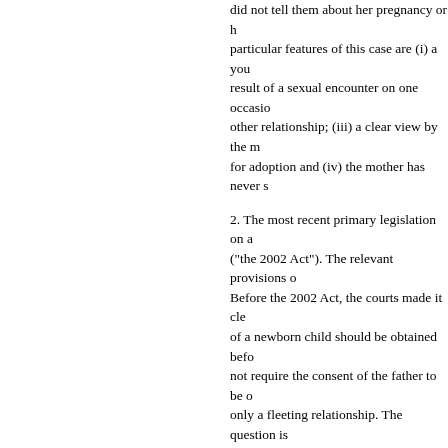did not tell them about her pregnancy or h... particular features of this case are (i) a you... result of a sexual encounter on one occasio... other relationship; (iii) a clear view by the ... for adoption and (iv) the mother has never ...
2. The most recent primary legislation on a... ("the 2002 Act"). The relevant provisions o... Before the 2002 Act, the courts made it cle... of a newborn child should be obtained befo... not require the consent of the father to be o... only a fleeting relationship. The question is... position so that, as the judge held in the co... make enquiries. In his judgment dated 28 S...
"The local authority has no choice. T... themselves of as much information a... family as they are able to do."
3. In my judgment, for the reasons given be... about the long-term care of a child, whom a... to make enquiries which it is not in the inte... not in the interests of the child simply beca... the child's background: they must genuinel... carer for the child without delay. This inter... life. The objective of finding long-term car... enquiries and that means the court has to ev... did not happen in this case. The judge cons... wrong principle and his exercise of discreti...